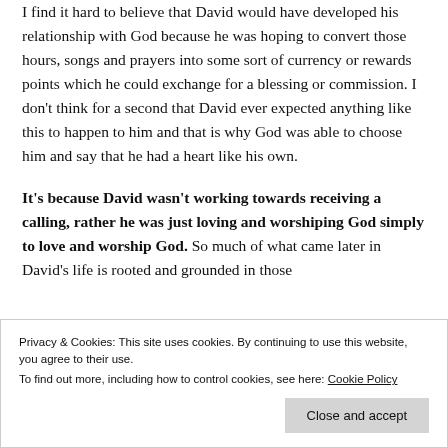I find it hard to believe that David would have developed his relationship with God because he was hoping to convert those hours, songs and prayers into some sort of currency or rewards points which he could exchange for a blessing or commission. I don't think for a second that David ever expected anything like this to happen to him and that is why God was able to choose him and say that he had a heart like his own.

It's because David wasn't working towards receiving a calling, rather he was just loving and worshiping God simply to love and worship God. So much of what came later in David's life is rooted and grounded in those
Privacy & Cookies: This site uses cookies. By continuing to use this website, you agree to their use.
To find out more, including how to control cookies, see here: Cookie Policy